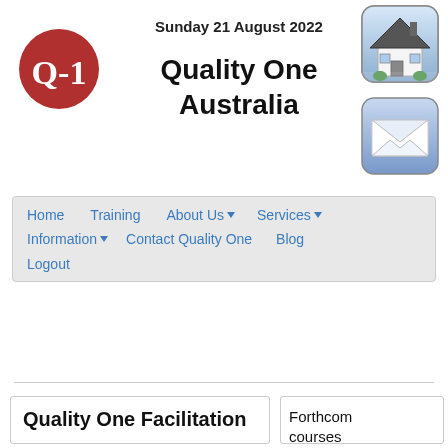Sunday 21 August 2022
[Figure (logo): Q-1 red circle logo for Quality One Australia]
Quality One Australia
[Figure (illustration): House icon button in top-right corner]
[Figure (illustration): Mail/envelope icon button below house icon]
Home
Training
About Us ▼
Services ▼
Information ▼
Contact Quality One
Blog
Logout
Quality One Facilitation
Forthcom courses AUS